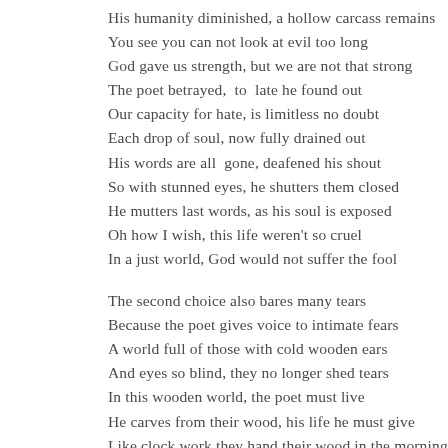His humanity diminished, a hollow carcass remains
You see you can not look at evil too long
God gave us strength, but we are not that strong
The poet betrayed,  to  late he found out
Our capacity for hate, is limitless no doubt
Each drop of soul, now fully drained out
His words are all  gone, deafened his shout
So with stunned eyes, he shutters them closed
He mutters last words, as his soul is exposed
Oh how I wish, this life weren't so cruel
In a just world, God would not suffer the fool

The second choice also bares many tears
Because the poet gives voice to intimate fears
A world full of those with cold wooden ears
And eyes so blind, they no longer shed tears
In this wooden world, the poet must live
He carves from their wood, his life he must give
Like clock work they hand their wood in the morning
By days end he replies, with his heartfelt carved